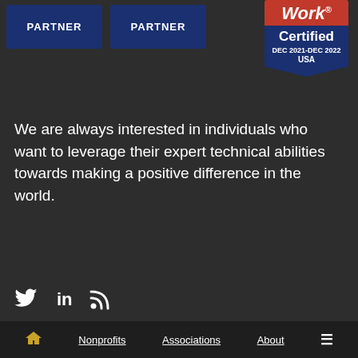[Figure (logo): Two dark blue PARTNER badge rectangles side by side]
[Figure (logo): Great Place to Work Certified badge, DEC 2021-DEC 2022, USA, red top and dark blue shield shape]
We are always interested in individuals who want to leverage their expert technical abilities towards making a positive difference in the world.
Join our team →
[Figure (other): Social media icons: Twitter bird, LinkedIn 'in', RSS feed icon]
Fionta takes your privacy seriously. Review our privacy policy and learn what cookies this website uses. © Copyright 2022 Fionta. All
🏠  Nonprofits  Associations  About  ☰